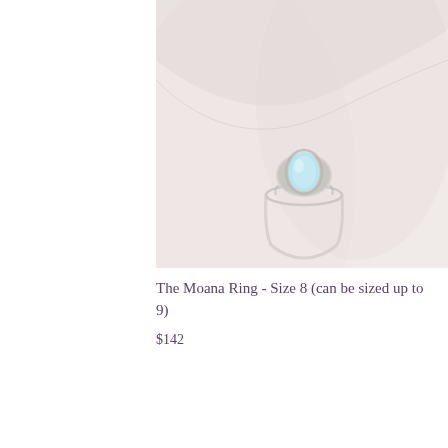[Figure (photo): Close-up photo of a silver ring with a light blue teardrop-shaped gemstone (possibly aquamarine or opalite), placed on a soft pinkish-white fabric background.]
The Moana Ring - Size 8 (can be sized up to 9)
$142